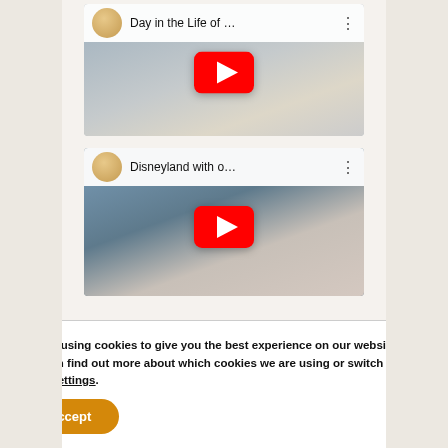[Figure (screenshot): YouTube embedded video thumbnail: 'Day in the Life of ...' with avatar, play button, woman with hat profile picture, children on a couch background]
[Figure (screenshot): YouTube embedded video thumbnail: 'Disneyland with o...' with avatar, play button, family selfie with man and children on airplane]
We are using cookies to give you the best experience on our website.
You can find out more about which cookies we are using or switch them off in settings.
Accept